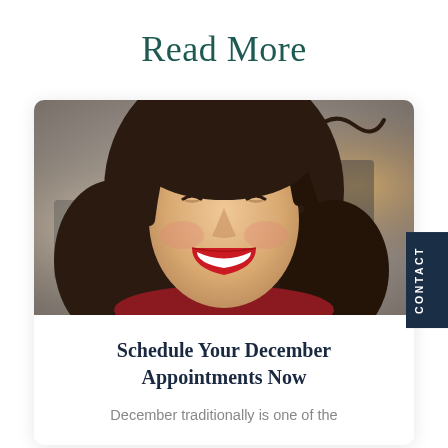Read More
[Figure (photo): Close-up photo of a smiling young woman with dark hair, red lipstick, and a red top. Background is blurred outdoor scene.]
Schedule Your December Appointments Now
December traditionally is one of the